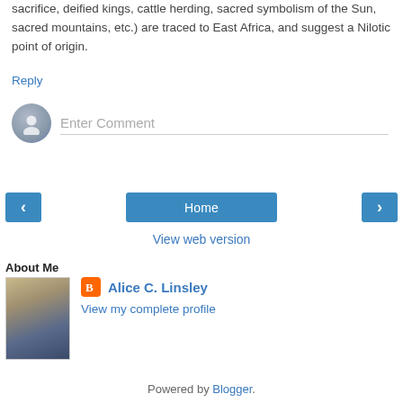sacrifice, deified kings, cattle herding, sacred symbolism of the Sun, sacred mountains, etc.) are traced to East Africa, and suggest a Nilotic point of origin.
Reply
[Figure (other): Comment input area with avatar icon and 'Enter Comment' placeholder text]
[Figure (infographic): Navigation bar with left arrow button, Home button, and right arrow button]
View web version
About Me
[Figure (photo): Profile photo of Alice C. Linsley, a woman with short blonde hair wearing a blue plaid shirt]
Alice C. Linsley
View my complete profile
Powered by Blogger.